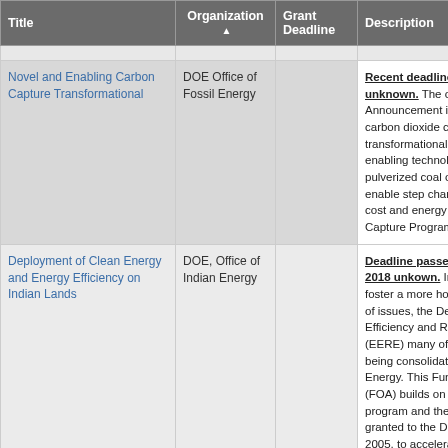| Title | Organization ▲ | Grant Deadline | Description |
| --- | --- | --- | --- |
| Novel and Enabling Carbon Capture Transformational | DOE Office of Fossil Energy |  | Recent deadline: 11/22/20 unknown. The objective of Announcement is to research carbon dioxide capture transformational processes, and enabling technologies for pulverized coal or natural gas to enable step change reductions in cost and energy penalties in Capture Program goal. |
| Deployment of Clean Energy and Energy Efficiency on Indian Lands | DOE, Office of Indian Energy |  | Deadline passed as of Fe for 2018 unkown. In an effort to foster a more holistic engagement of issues, the Department's Efficiency and Renewable Energy (EERE) many of its activities are being consolidated into Indian Energy. This Funding Opportunity (FOA) builds on efforts by the program and the authorities granted to the DOE under EPAct 2005, to accelerate renewable energy and energy... |